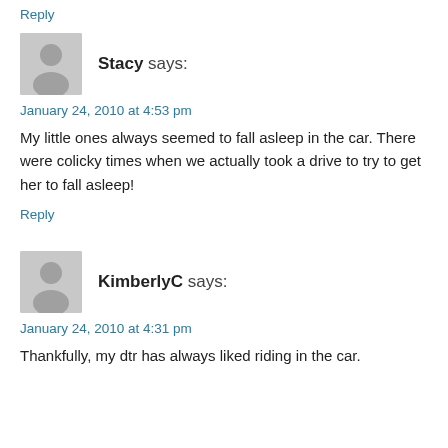Reply
Stacy says:
January 24, 2010 at 4:53 pm
My little ones always seemed to fall asleep in the car. There were colicky times when we actually took a drive to try to get her to fall asleep!
Reply
KimberlyC says:
January 24, 2010 at 4:31 pm
Thankfully, my dtr has always liked riding in the car.